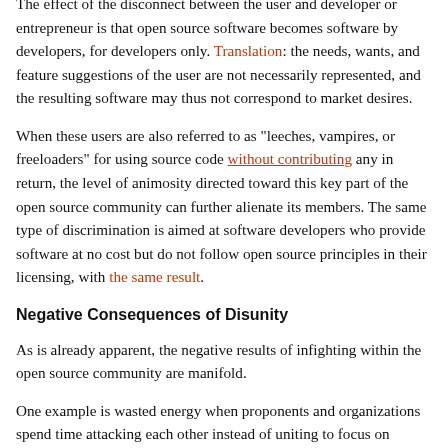The effect of the disconnect between the user and developer or entrepreneur is that open source software becomes software by developers, for developers only. Translation: the needs, wants, and feature suggestions of the user are not necessarily represented, and the resulting software may thus not correspond to market desires.
When these users are also referred to as "leeches, vampires, or freeloaders" for using source code without contributing any in return, the level of animosity directed toward this key part of the open source community can further alienate its members. The same type of discrimination is aimed at software developers who provide software at no cost but do not follow open source principles in their licensing, with the same result.
Negative Consequences of Disunity
As is already apparent, the negative results of infighting within the open source community are manifold.
One example is wasted energy when proponents and organizations spend time attacking each other instead of uniting to focus on